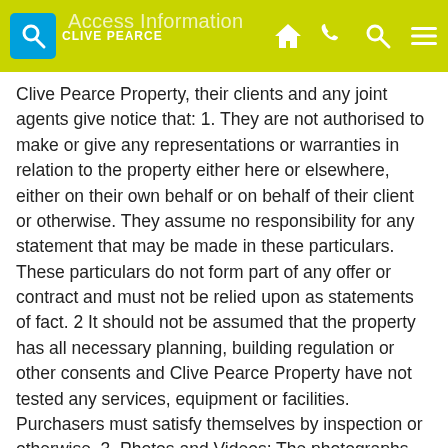Access Information — Clive Pearce
Clive Pearce Property, their clients and any joint agents give notice that: 1. They are not authorised to make or give any representations or warranties in relation to the property either here or elsewhere, either on their own behalf or on behalf of their client or otherwise. They assume no responsibility for any statement that may be made in these particulars. These particulars do not form part of any offer or contract and must not be relied upon as statements of fact. 2 It should not be assumed that the property has all necessary planning, building regulation or other consents and Clive Pearce Property have not tested any services, equipment or facilities. Purchasers must satisfy themselves by inspection or otherwise. 3. Photos and Videos: The photographs and/or videos show only certain parts of the property as they appeared at the time they were taken. Areas, measurements and distances given are approximate only. Any computer generated image gives only an indication as to how the property may look and this may change at any time. Any reference to alterations to, or use of, any part of the property does not mean that any necessary planning, building regulations or other consent has been obtained. A buyer must